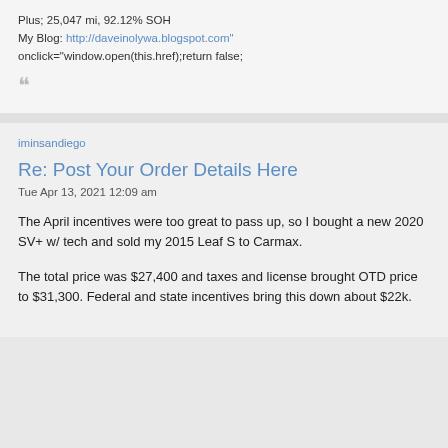Plus; 25,047 mi, 92.12% SOH
My Blog: http://daveinolywa.blogspot.com"
onclick="window.open(this.href);return false;
““
iminsandiego
Re: Post Your Order Details Here
Tue Apr 13, 2021 12:09 am
The April incentives were too great to pass up, so I bought a new 2020 SV+ w/ tech and sold my 2015 Leaf S to Carmax.
The total price was $27,400 and taxes and license brought OTD price to $31,300. Federal and state incentives bring this down about $22k.